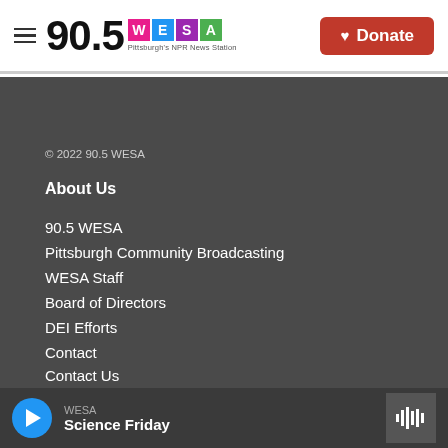[Figure (logo): 90.5 WESA Pittsburgh's NPR News Station logo with colored letter tiles (W=pink, E=blue, S=purple, A=green) and hamburger menu icon]
[Figure (other): Red Donate button with heart icon]
© 2022 90.5 WESA
About Us
90.5 WESA
Pittsburgh Community Broadcasting
WESA Staff
Board of Directors
DEI Efforts
Contact
Contact Us
Careers
Resources
Reports & Resources
WESA
Science Friday